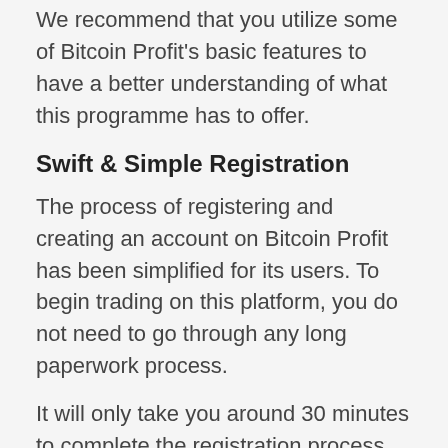We recommend that you utilize some of Bitcoin Profit's basic features to have a better understanding of what this programme has to offer.
Swift & Simple Registration
The process of registering and creating an account on Bitcoin Profit has been simplified for its users. To begin trading on this platform, you do not need to go through any long paperwork process.
It will only take you around 30 minutes to complete the registration process. Furthermore, to ensure that your verification is completed quickly, you should double-check your credentials.
Free Of Cost Licensing